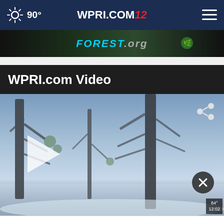90° WPRI.COM 12
[Figure (screenshot): Ad banner for FOREST.org with colorful nature imagery]
WPRI.com Video
[Figure (screenshot): Video player showing a winter forest scene with bare trees and snow. Contains a play button, share icon, close button, and timestamp overlay reading 84° 12:02.]
[Figure (infographic): Advertisement: 'Adopt a teen. You can't imagine the reward.' with Adopt US Kids logo, HHS logo, and ad badge.]